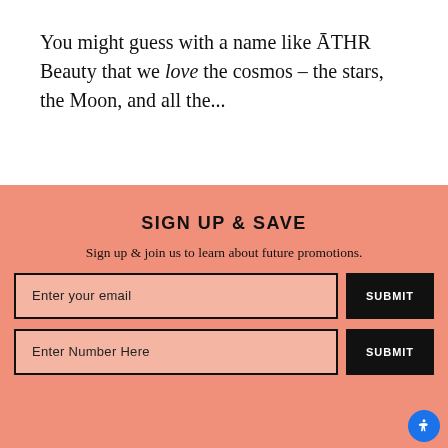You might guess with a name like ĀTHR Beauty that we love the cosmos – the stars, the Moon, and all the...
SIGN UP & SAVE
Sign up & join us to learn about future promotions.
[Figure (screenshot): Email input field with placeholder 'Enter your email' and a black SUBMIT button]
[Figure (screenshot): Phone number input field with placeholder 'Enter Number Here' and a black SUBMIT button]